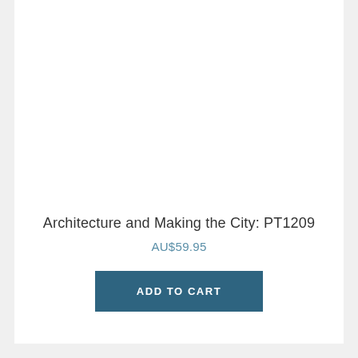Architecture and Making the City: PT1209
AU$59.95
ADD TO CART